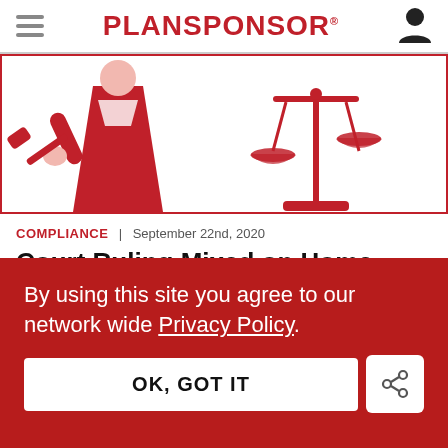PLANSPONSOR
[Figure (illustration): Illustration of a judge with a gavel and scales of justice, in red tones on white background with red border]
COMPLIANCE | September 22nd, 2020
Court Ruling Mixed on Home Depot Dismissal Motion
By using this site you agree to our network wide Privacy Policy.
OK, GOT IT